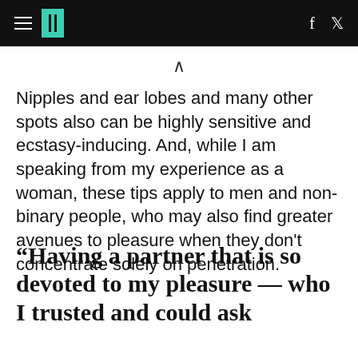HuffPost
Nipples and ear lobes and many other spots also can be highly sensitive and ecstasy-inducing. And, while I am speaking from my experience as a woman, these tips apply to men and non-binary people, who may also find greater avenues to pleasure when they don't concentrate solely on penetration.
“Having a partner that is so devoted to my pleasure — who I trusted and could ask